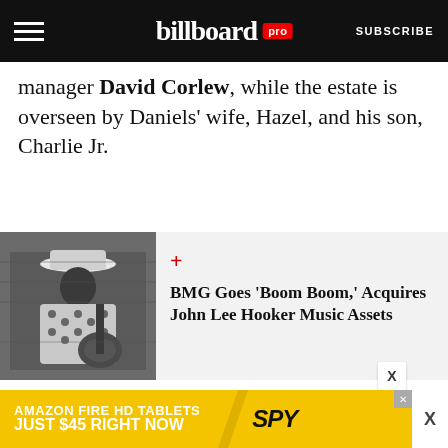billboard pro | SUBSCRIBE
manager David Corlew, while the estate is overseen by Daniels' wife, Hazel, and his son, Charlie Jr.
[Figure (photo): Black and white photo of John Lee Hooker playing guitar, wearing a white hat and polka dot shirt, seated in front of a brick wall]
BMG Goes 'Boom Boom,' Acquires John Lee Hooker Music Assets
“This transaction will be the first of many for BFE’s new privately funded investment arm,
[Figure (other): Advertisement: Amazon Fire HD Tablets Just $45 Right Now — SPY]